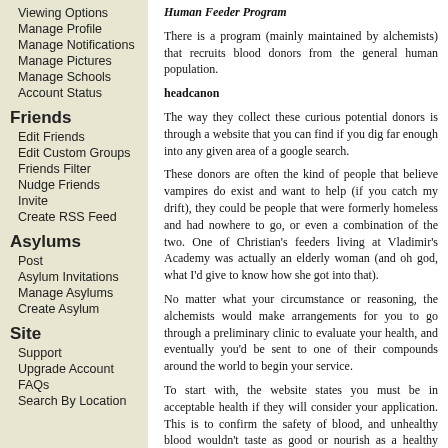Viewing Options
Manage Profile
Manage Notifications
Manage Pictures
Manage Schools
Account Status
Friends
Edit Friends
Edit Custom Groups
Friends Filter
Nudge Friends
Invite
Create RSS Feed
Asylums
Post
Asylum Invitations
Manage Asylums
Create Asylum
Site
Support
Upgrade Account
FAQs
Search By Location
Human Feeder Program
There is a program (mainly maintained by alchemists) that recruits blood donors from the general human population.
headcanon
The way they collect these curious potential donors is through a website that you can find if you dig far enough into any given area of a google search.
These donors are often the kind of people that believe vampires do exist and want to help (if you catch my drift), they could be people that were formerly homeless and had nowhere to go, or even a combination of the two. One of Christian's feeders living at Vladimir's Academy was actually an elderly woman (and oh god, what I'd give to know how she got into that).
No matter what your circumstance or reasoning, the alchemists would make arrangements for you to go through a preliminary clinic to evaluate your health, and eventually you'd be sent to one of their compounds around the world to begin your service.
To start with, the website states you must be in acceptable health if they will consider your application. This is to confirm the safety of blood, and unhealthy blood wouldn't taste as good or nourish as a healthy person would.
Once you've submitted an application to the alchemists, they will vett and send you to a clinic (owned by the alchemists, of course) for a series of tests to thoroughly check your blood type,